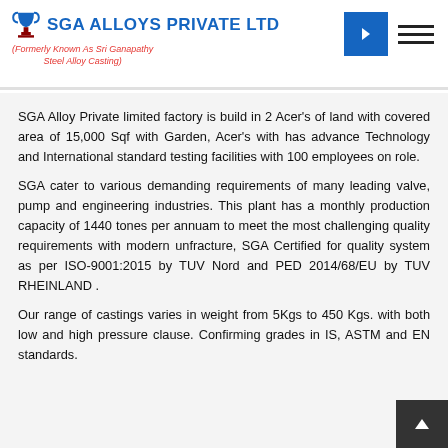SGA ALLOYS PRIVATE LTD (Formerly Known As Sri Ganapathy Steel Alloy Casting)
SGA Alloy Private limited factory is build in 2 Acer's of land with covered area of 15,000 Sqf with Garden, Acer's with has advance Technology and International standard testing facilities with 100 employees on role.
SGA cater to various demanding requirements of many leading valve, pump and engineering industries. This plant has a monthly production capacity of 1440 tones per annuam to meet the most challenging quality requirements with modern unfracture, SGA Certified for quality system as per ISO-9001:2015 by TUV Nord and PED 2014/68/EU by TUV RHEINLAND .
Our range of castings varies in weight from 5Kgs to 450 Kgs. with both low and high pressure clause. Confirming grades in IS, ASTM and EN standards.